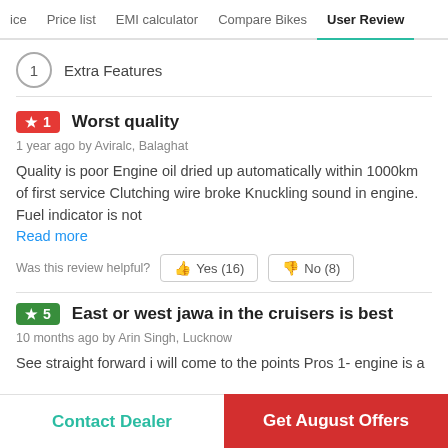ice   Price list   EMI calculator   Compare Bikes   User Review
1  Extra Features
★ 1  Worst quality
1 year ago by Aviralc, Balaghat
Quality is poor Engine oil dried up automatically within 1000km of first service Clutching wire broke Knuckling sound in engine. Fuel indicator is not
Read more
Was this review helpful?  Yes (16)  No (8)
★ 5  East or west jawa in the cruisers is best
10 months ago by Arin Singh, Lucknow
See straight forward i will come to the points Pros 1- engine is a
Contact Dealer   Get August Offers